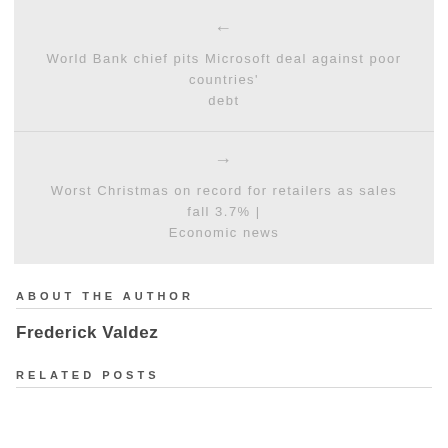← World Bank chief pits Microsoft deal against poor countries' debt
→ Worst Christmas on record for retailers as sales fall 3.7% | Economic news
ABOUT THE AUTHOR
Frederick Valdez
RELATED POSTS